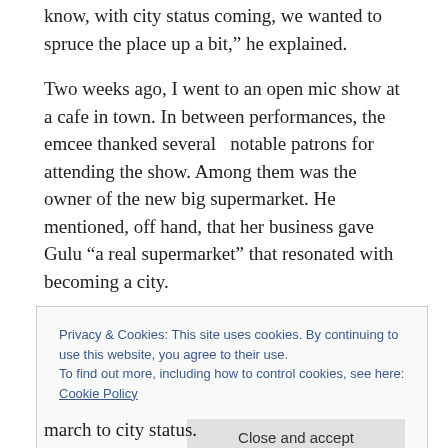know, with city status coming, we wanted to spruce the place up a bit,” he explained.
Two weeks ago, I went to an open mic show at a cafe in town. In between performances, the emcee thanked several  notable patrons for attending the show. Among them was the owner of the new big supermarket. He mentioned, off hand, that her business gave Gulu “a real supermarket” that resonated with becoming a city.
Privacy & Cookies: This site uses cookies. By continuing to use this website, you agree to their use.
To find out more, including how to control cookies, see here: Cookie Policy
march to city status.